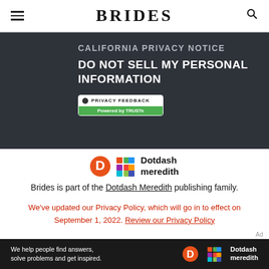BRIDES
CALIFORNIA PRIVACY NOTICE
DO NOT SELL MY PERSONAL INFORMATION
[Figure (logo): TRUSTe Privacy Feedback badge — white top section with black dot icon and 'PRIVACY FEEDBACK' text, green bottom section with 'Powered by TRUSTe']
[Figure (logo): Dotdash Meredith logo — orange D circle icon, colorful grid icon, and 'Dotdash meredith' wordmark]
Brides is part of the Dotdash Meredith publishing family.
We've updated our Privacy Policy, which will go in to effect on September 1, 2022. Review our Privacy Policy
Ad
[Figure (screenshot): Dark advertisement banner: 'We help people find answers, solve problems and get inspired.' with Dotdash Meredith logo on right]